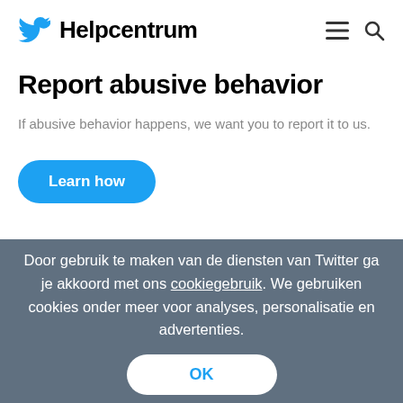Helpcentrum
Report abusive behavior
If abusive behavior happens, we want you to report it to us.
Learn how
Door gebruik te maken van de diensten van Twitter ga je akkoord met ons cookiegebruik. We gebruiken cookies onder meer voor analyses, personalisatie en advertenties.
OK